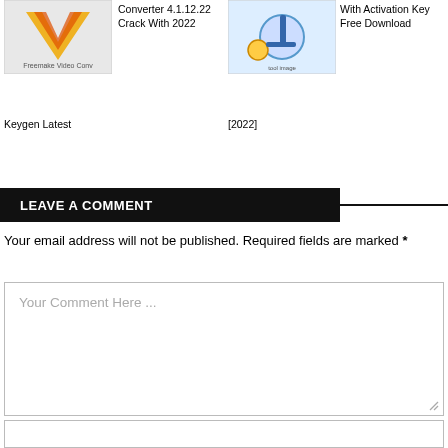[Figure (screenshot): Thumbnail image for Freemake Video Converter with logo]
Converter 4.1.12.22 Crack With 2022
[Figure (screenshot): Thumbnail image for a software tool with mechanical/technical imagery]
With Activation Key Free Download
Keygen Latest
[2022]
LEAVE A COMMENT
Your email address will not be published. Required fields are marked *